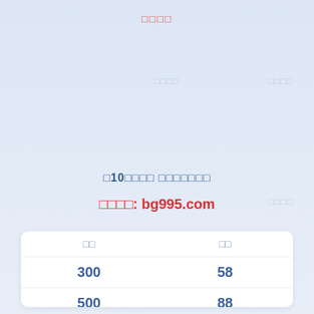□□□□
□10□□□□ □□□□□□□
□□□□: bg995.com
| □□ | □□ |
| --- | --- |
| 300 | 58 |
| 500 | 88 |
| 1000 | 188 |